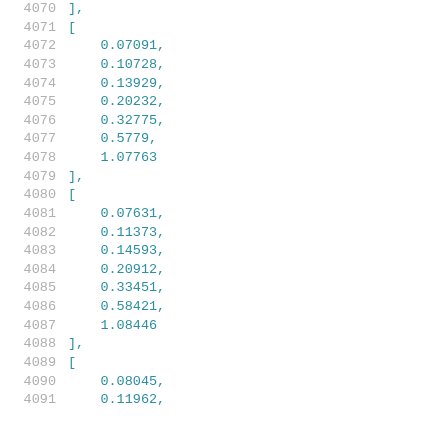Code listing lines 4070-4091 showing array data with numeric values
4070    ],
4071    [
4072        0.07091,
4073        0.10728,
4074        0.13929,
4075        0.20232,
4076        0.32775,
4077        0.5779,
4078        1.07763
4079    ],
4080    [
4081        0.07631,
4082        0.11373,
4083        0.14593,
4084        0.20912,
4085        0.33451,
4086        0.58421,
4087        1.08446
4088    ],
4089    [
4090        0.08045,
4091        0.11962,